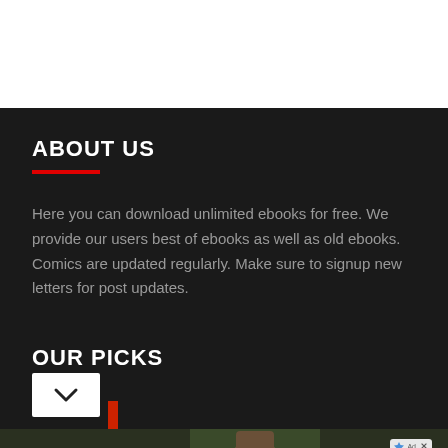ABOUT US
Here you can download unlimited ebooks for free. We provide our users best of ebooks as well as old ebooks. Comics are updated regularly. Make sure to signup new letters for post updates.
OUR PICKS
[Figure (screenshot): Advertisement banner for 'The Canterville Ghost' with a person in period costume, 'STREAM FREE' button in orange, BBC Studios logo, and OWU TV logo.]